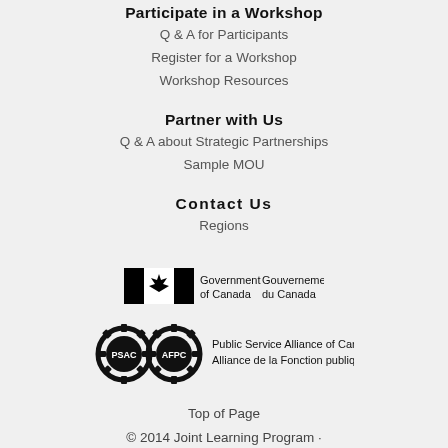Participate in a Workshop
Q & A for Participants
Register for a Workshop
Workshop Resources
Partner with Us
Q & A about Strategic Partnerships
Sample MOU
Contact Us
Regions
[Figure (logo): Government of Canada / Gouvernement du Canada bilingual logo with Canadian flag]
[Figure (logo): PSAC / AFPC gear logo with text: Public Service Alliance of Canada / Alliance de la Fonction publique du Canada]
Top of Page
© 2014 Joint Learning Program ·